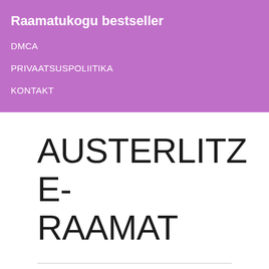Raamatukogu bestseller
DMCA
PRIVAATSUSPOLIITIKA
KONTAKT
AUSTERLITZ E-RAAMAT
PRICE: FREE